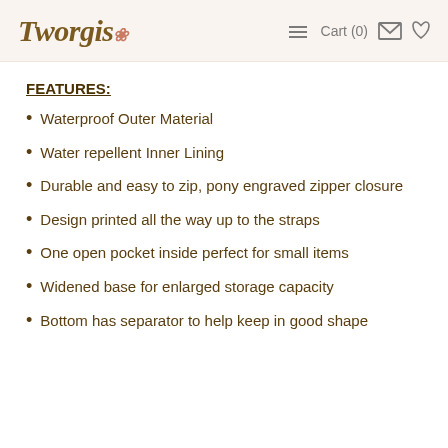Tworgis — Cart (0)
FEATURES:
Waterproof Outer Material
Water repellent Inner Lining
Durable and easy to zip, pony engraved zipper closure
Design printed all the way up to the straps
One open pocket inside perfect for small items
Widened base for enlarged storage capacity
Bottom has separator to help keep in good shape